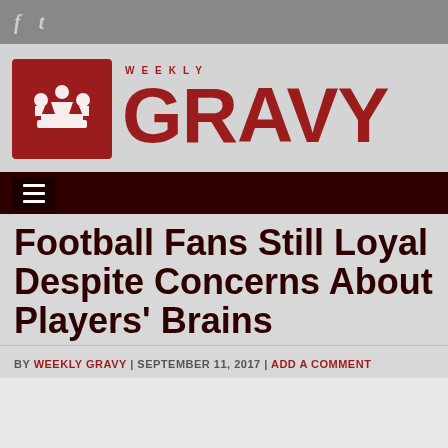f  t
[Figure (logo): Weekly Gravy logo with red crown icon square and large red GRAVY text with WEEKLY label]
[Figure (other): Dark maroon navigation bar with hamburger menu icon]
Football Fans Still Loyal Despite Concerns About Players' Brains
BY WEEKLY GRAVY | SEPTEMBER 11, 2017 | ADD A COMMENT